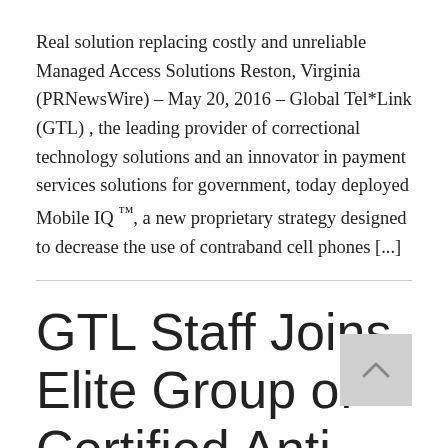Real solution replacing costly and unreliable Managed Access Solutions Reston, Virginia (PRNewsWire) – May 20, 2016 – Global Tel*Link (GTL) , the leading provider of correctional technology solutions and an innovator in payment services solutions for government, today deployed Mobile IQ ™, a new proprietary strategy designed to decrease the use of contraband cell phones [...]
GTL Staff Joins Elite Group of Certified Anti-Money